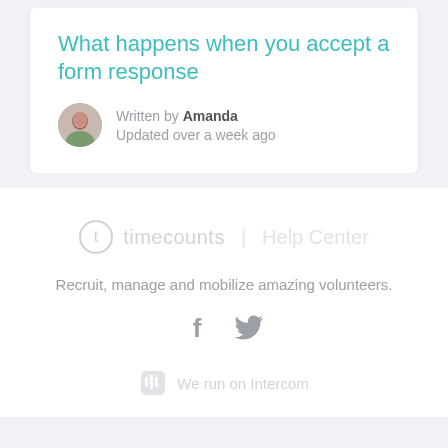What happens when you accept a form response
Written by Amanda
Updated over a week ago
[Figure (logo): timecounts | Help Center logo]
Recruit, manage and mobilize amazing volunteers.
[Figure (illustration): Facebook and Twitter social icons]
We run on Intercom